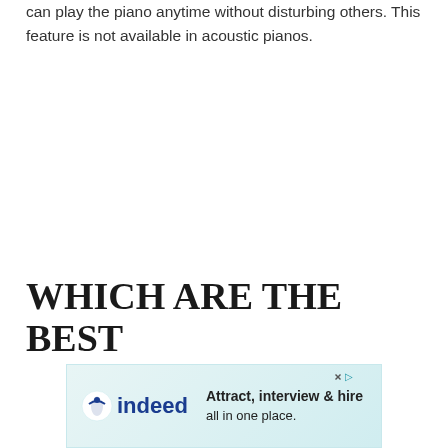can play the piano anytime without disturbing others. This feature is not available in acoustic pianos.
WHICH ARE THE BEST
[Figure (other): Indeed advertisement banner: 'Attract, interview & hire all in one place.' with Indeed logo and close button.]